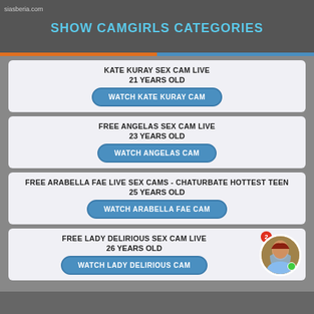siasberia.com
SHOW CAMGIRLS CATEGORIES
KATE KURAY SEX CAM LIVE
21 YEARS OLD
WATCH KATE KURAY CAM
FREE ANGELAS SEX CAM LIVE
23 YEARS OLD
WATCH ANGELAS CAM
FREE ARABELLA FAE LIVE SEX CAMS - CHATURBATE HOTTEST TEEN
25 YEARS OLD
WATCH ARABELLA FAE CAM
FREE LADY DELIRIOUS SEX CAM LIVE
26 YEARS OLD
WATCH LADY DELIRIOUS CAM